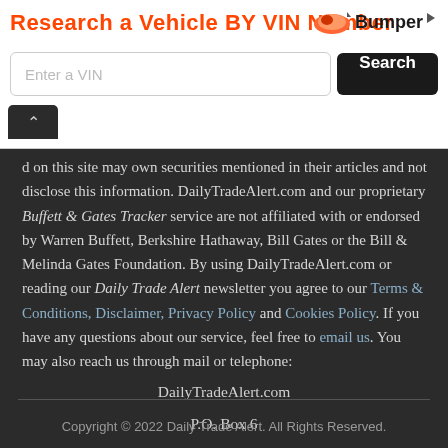[Figure (screenshot): Advertisement banner: 'Research a Vehicle BY VIN Number' with Bumper logo, VIN input field, and Search button]
d on this site may own securities mentioned in their articles and not disclose this information. DailyTradeAlert.com and our proprietary Buffett & Gates Tracker service are not affiliated with or endorsed by Warren Buffett, Berkshire Hathaway, Bill Gates or the Bill & Melinda Gates Foundation. By using DailyTradeAlert.com or reading our Daily Trade Alert newsletter you agree to our Terms & Conditions, Disclaimer, Privacy Policy and Cookies Policy. If you have any questions about our service, feel free to email us. You may also reach us through mail or telephone:
DailyTradeAlert.com
P.O. Box 6
Hall, NY 14463
(585) 412-2145
Copyright © 2022 Daily Trade Alert. All Rights Reserved.